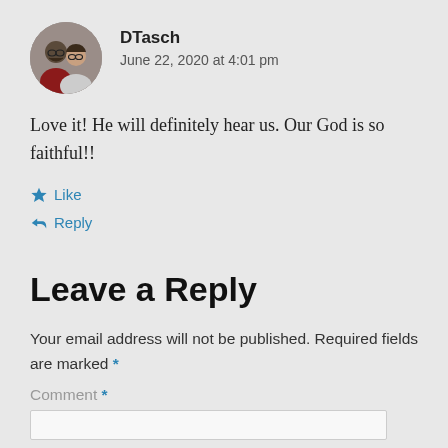[Figure (photo): Circular avatar photo of two people (DTasch), a man with glasses and beard and a woman with glasses]
DTasch
June 22, 2020 at 4:01 pm
Love it! He will definitely hear us. Our God is so faithful!!
Like
Reply
Leave a Reply
Your email address will not be published. Required fields are marked *
Comment *